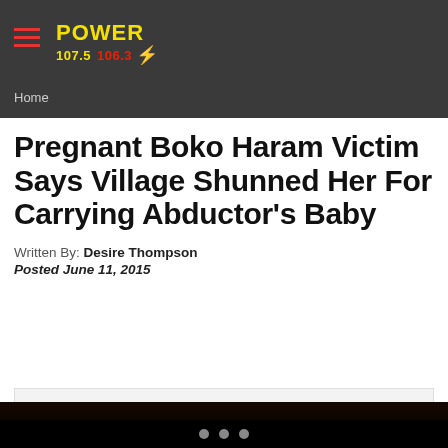Home
Pregnant Boko Haram Victim Says Village Shunned Her For Carrying Abductor's Baby
Written By: Desire Thompson
Posted June 11, 2015
[Figure (other): Advertisement box with 'Power 107.5' label on light gray background]
[Figure (photo): Dark image strip at bottom, partially visible, appears to be a news photo]